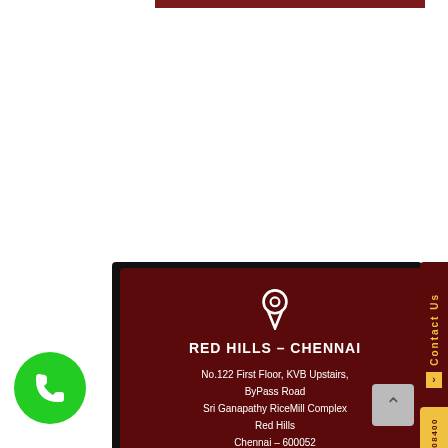[Figure (infographic): Dark red contact card for Red Hills - Chennai branch with location pin icon, address details, a 'Contact Us' vertical tab on the right, a phone number tab, a scroll-to-top button, and a green phone call button at bottom left.]
RED HILLS – CHENNAI
No.122 First Floor, KVB Upstairs, ByPass Road Sri Ganapathy RiceMill Complex Red Hills Chennai – 600052